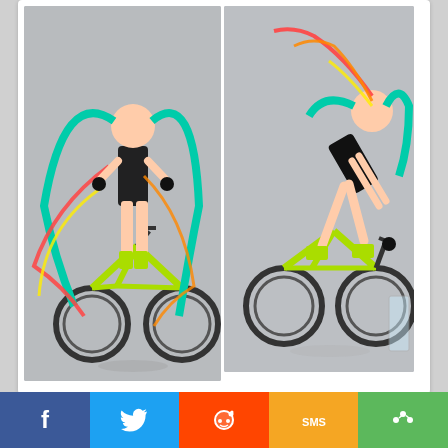[Figure (photo): Two product photos of a Hatsune Miku figma figure in cycling attire with neon yellow-green bicycle. Left photo: figure standing next to bicycle with colorful ribbon hair accessories. Right photo: figure posed riding/leaning on bicycle.]
Jun 22
Hatsune Miku: Project DIVA
[Figure (infographic): Social sharing bar with Facebook, Twitter, Reddit, SMS, and share buttons]